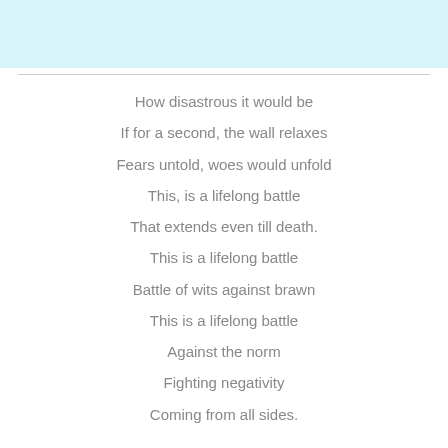[Figure (other): Light blue banner/header area at the top of the page]
How disastrous it would be
If for a second, the wall relaxes
Fears untold, woes would unfold
This, is a lifelong battle
That extends even till death.
This is a lifelong battle
Battle of wits against brawn
This is a lifelong battle
Against the norm
Fighting negativity
Coming from all sides.